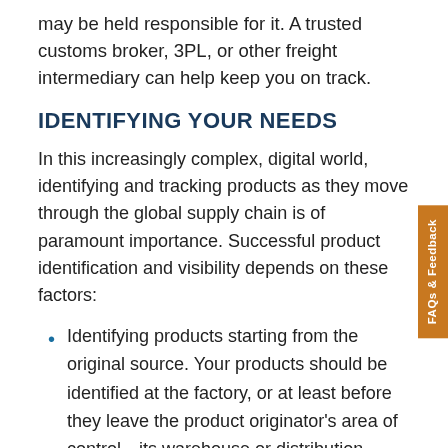may be held responsible for it. A trusted customs broker, 3PL, or other freight intermediary can help keep you on track.
IDENTIFYING YOUR NEEDS
In this increasingly complex, digital world, identifying and tracking products as they move through the global supply chain is of paramount importance. Successful product identification and visibility depends on these factors:
Identifying products starting from the original source. Your products should be identified at the factory, or at least before they leave the product originator's area of control—its warehouse or distribution center, for example.